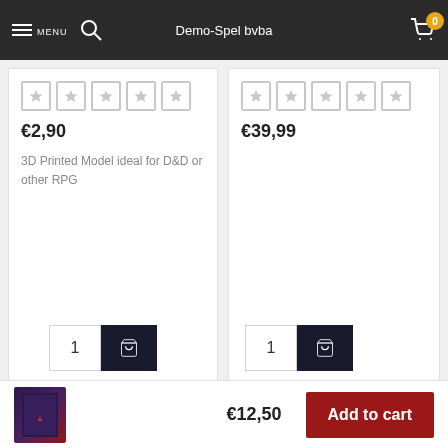MENU | Demo-Spel bvba | 0
€2,90
3D Printed Model ideal for D&D or other RPG
€39,99
€12,50
Add to cart